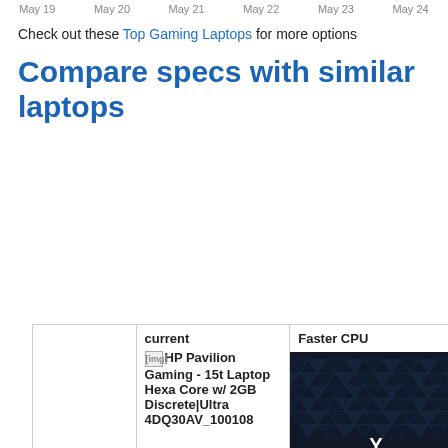May 19   May 20   May 21   May 22   May 23   May 24
Check out these Top Gaming Laptops for more options
Compare specs with similar laptops
|  | current HP Pavilion Gaming - 15t Laptop Hexa Core w/ 2GB Discrete|Ultra 4DQ30AV_100108 | Faster CPU [Lenovo Legion Y540 image] |
| --- | --- | --- |
| Product name | HP Pavilion Gaming Laptop - | 2019 Lenovo Legion Y540 15 Gaming Laptop Computer, 9t |